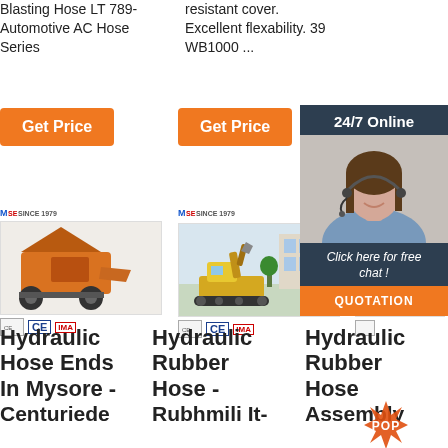Blasting Hose LT 789-
Automotive AC Hose Series
resistant cover.
Excellent flexability. 39 WB1000 ...
[Figure (other): Orange 'Get Price' button]
[Figure (other): Orange 'Get Price' button]
[Figure (other): 24/7 Online chat box with customer service agent photo, 'Click here for free chat!' text, and orange QUOTATION button]
[Figure (photo): Product image: construction machine (mixer/blower) with orange body on wheels, logo 'MS SINCE 1979', CE and IMA badges]
[Figure (photo): Product image: yellow mini excavator, logo 'MS SINCE 1979', CE and IMA badges]
[Figure (other): Partial third product card partially behind chat box, logo 'MS', CE badge]
Hydraulic Hose Ends In Mysore - Centuriede
Hydraulic Rubber Hose - Rubhmili It-
Hydraulic Rubber Hose Assembly